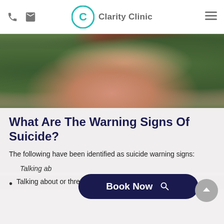Clarity Clinic
[Figure (photo): Woman with red nail polish holding hand near her face/neck, green foliage background]
What Are The Warning Signs Of Suicide?
The following have been identified as suicide warning signs:
Talking ab[out wanting to die or to kill oneself]
Talking about or threatening to commit or